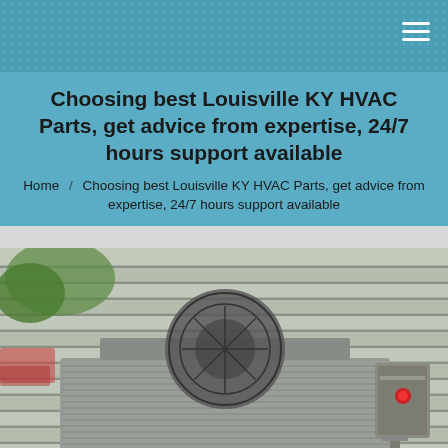Choosing best Louisville KY HVAC Parts, get advice from expertise, 24/7 hours support available
Home / Choosing best Louisville KY HVAC Parts, get advice from expertise, 24/7 hours support available
[Figure (photo): Outdoor HVAC air conditioning unit / heat pump installed against a grey vinyl-sided building exterior. A gravel/concrete pad is visible at the base. A disconnect box with red switch is visible on the right side of the unit. Trees and parked cars are faintly visible in the background on the left.]